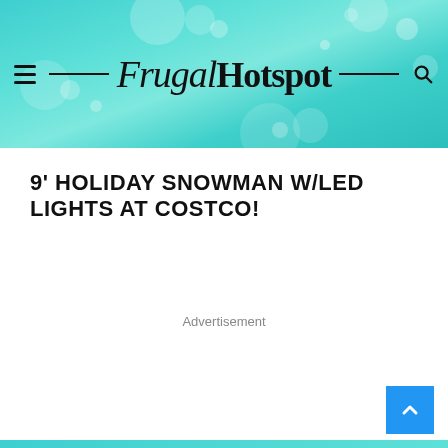Frugal Hotspot
9' HOLIDAY SNOWMAN W/LED LIGHTS AT COSTCO!
Advertisement